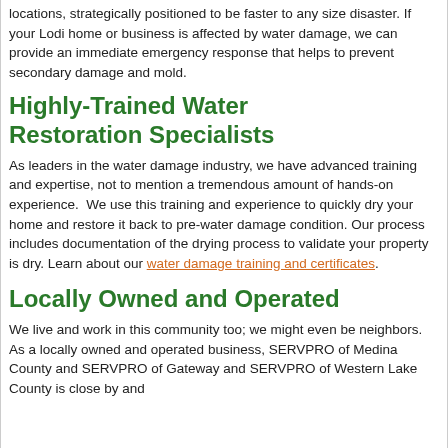locations, strategically positioned to be faster to any size disaster. If your Lodi home or business is affected by water damage, we can provide an immediate emergency response that helps to prevent secondary damage and mold.
Highly-Trained Water Restoration Specialists
As leaders in the water damage industry, we have advanced training and expertise, not to mention a tremendous amount of hands-on experience.  We use this training and experience to quickly dry your home and restore it back to pre-water damage condition. Our process includes documentation of the drying process to validate your property is dry. Learn about our water damage training and certificates.
Locally Owned and Operated
We live and work in this community too; we might even be neighbors. As a locally owned and operated business, SERVPRO of Medina County and SERVPRO of Gateway and SERVPRO of Western Lake County is close by and